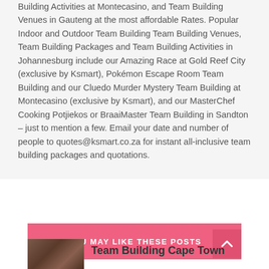Building Activities at Montecasino, and Team Building Venues in Gauteng at the most affordable Rates. Popular Indoor and Outdoor Team Building Team Building Venues, Team Building Packages and Team Building Activities in Johannesburg include our Amazing Race at Gold Reef City (exclusive by Ksmart), Pokémon Escape Room Team Building and our Cluedo Murder Mystery Team Building at Montecasino (exclusive by Ksmart), and our MasterChef Cooking Potjiekos or BraaiMaster Team Building in Sandton – just to mention a few. Email your date and number of people to quotes@ksmart.co.za for instant all-inclusive team building packages and quotations.
YOU MAY LIKE THESE POSTS
Team Building Cape Town